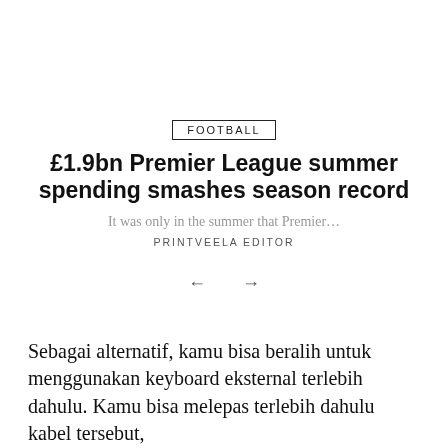FOOTBALL
£1.9bn Premier League summer spending smashes season record
It was only in the summer that Premier...
PRINTVEELA EDITOR
← →
Sebagai alternatif, kamu bisa beralih untuk menggunakan keyboard eksternal terlebih dahulu. Kamu bisa melepas terlebih dahulu kabel tersebut,